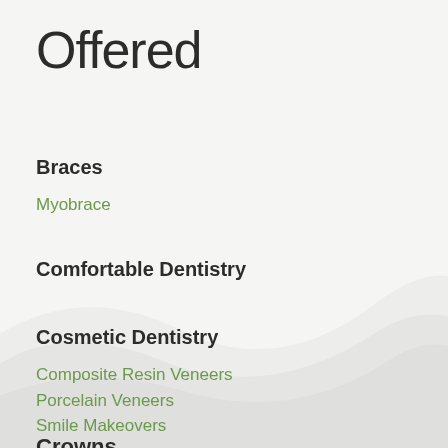Offered
Braces
Myobrace
Comfortable Dentistry
Cosmetic Dentistry
Composite Resin Veneers
Porcelain Veneers
Smile Makeovers
Crowns
Traditional Crowns